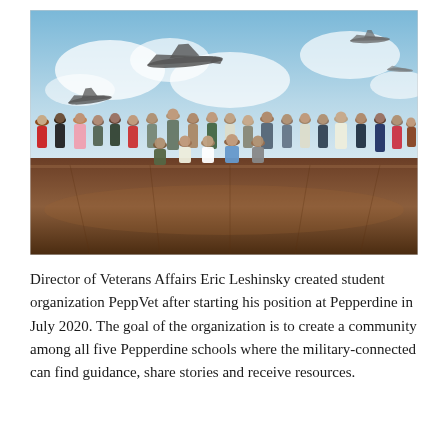[Figure (photo): Group photo of approximately 30 people standing and kneeling in front of a large mural depicting military aircraft flying through clouds. The group is posed on a polished wood floor. The mural shows propeller planes and jets. People are dressed in casual and semi-formal attire.]
Director of Veterans Affairs Eric Leshinsky created student organization PeppVet after starting his position at Pepperdine in July 2020. The goal of the organization is to create a community among all five Pepperdine schools where the military-connected can find guidance, share stories and receive resources.